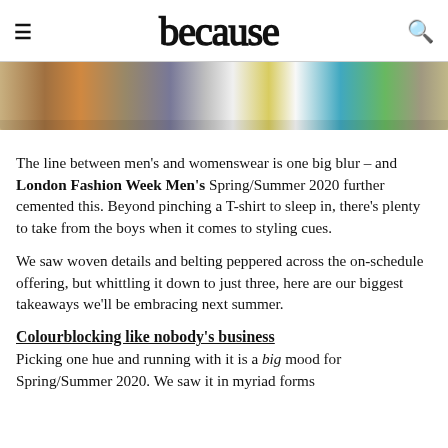because
[Figure (photo): Cropped bottom portion of a fashion photo showing multiple models' legs and feet in colorful outfits against an orange/brown background]
The line between men's and womenswear is one big blur – and London Fashion Week Men's Spring/Summer 2020 further cemented this. Beyond pinching a T-shirt to sleep in, there's plenty to take from the boys when it comes to styling cues.
We saw woven details and belting peppered across the on-schedule offering, but whittling it down to just three, here are our biggest takeaways we'll be embracing next summer.
Colourblocking like nobody's business
Picking one hue and running with it is a big mood for Spring/Summer 2020. We saw it in myriad forms